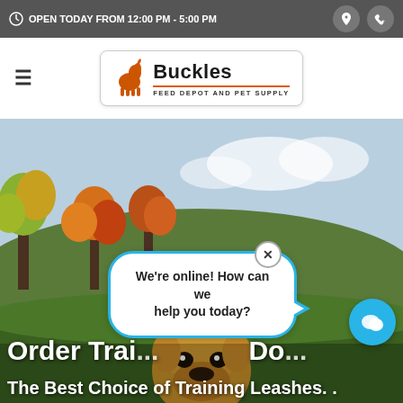OPEN TODAY FROM 12:00 PM - 5:00 PM
[Figure (logo): Buckles Feed Depot and Pet Supply logo with horse silhouette]
[Figure (photo): Golden retriever dog in outdoor vineyard/garden setting with autumn foliage background]
Order Trai... Do...
The Best Choice of Training Leashes. .
We're online! How can we help you today?